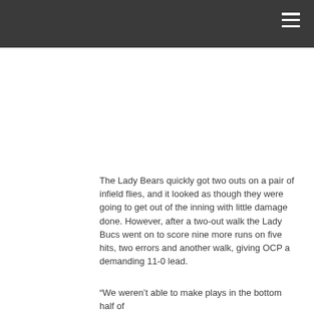The Lady Bears quickly got two outs on a pair of infield flies, and it looked as though they were going to get out of the inning with little damage done. However, after a two-out walk the Lady Bucs went on to score nine more runs on five hits, two errors and another walk, giving OCP a demanding 11-0 lead.
“We weren’t able to make plays in the bottom half of